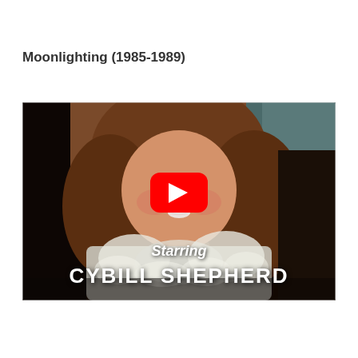Moonlighting (1985-1989)
[Figure (screenshot): YouTube video thumbnail showing a smiling woman with auburn curly hair wearing a white feathered outfit. A red YouTube play button is centered on the image. White text overlaid at the bottom reads 'Starring CYBILL SHEPHERD'.]